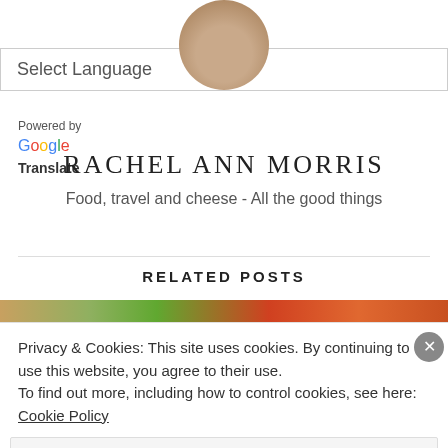[Figure (photo): Circular profile photo of a person, cropped at top of page]
Select Language
Powered by
Google
Translate
RACHEL ANN MORRIS
Food, travel and cheese - All the good things
RELATED POSTS
[Figure (photo): Food photo strip showing colorful vegetables and dishes]
Privacy & Cookies: This site uses cookies. By continuing to use this website, you agree to their use.
To find out more, including how to control cookies, see here: Cookie Policy
Close and accept